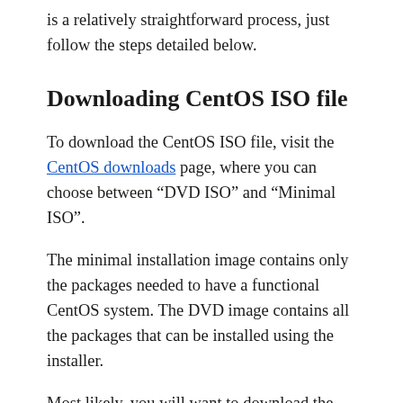is a relatively straightforward process, just follow the steps detailed below.
Downloading CentOS ISO file
To download the CentOS ISO file, visit the CentOS downloads page, where you can choose between “DVD ISO” and “Minimal ISO”.
The minimal installation image contains only the packages needed to have a functional CentOS system. The DVD image contains all the packages that can be installed using the installer.
Most likely, you will want to download the “DVD